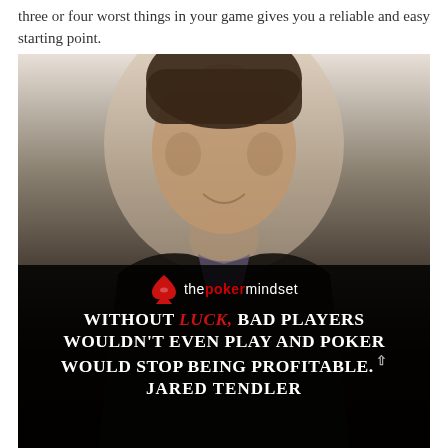three or four worst things in your game gives you a reliable and easy starting point.
[Figure (photo): Portrait photo of a smiling man in a dark suit and light shirt, set against a gradient background fading from light gray at top to black at bottom. The lower portion has a dark overlay with branding and a quote.]
thepokermindset — WITHOUT LUCK, BAD PLAYERS WOULDN'T EVEN PLAY AND POKER WOULD STOP BEING PROFITABLE. JARED TENDLER